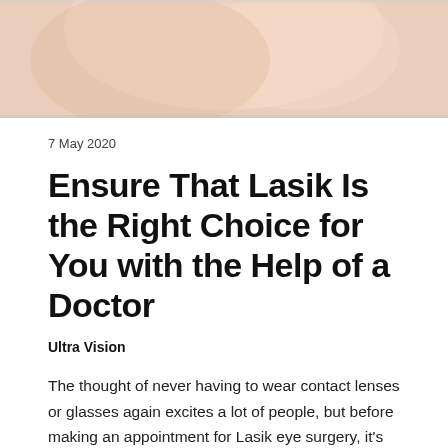[Figure (photo): Close-up photo of a person's face, showing skin tones in warm peach and beige colors, cropped at the top of the page.]
7 May 2020
Ensure That Lasik Is the Right Choice for You with the Help of a Doctor
Ultra Vision
The thought of never having to wear contact lenses or glasses again excites a lot of people, but before making an appointment for Lasik eye surgery, it's important that you talk to your doctor about whether or not you are a good candidate for Lasik. Most people who have Lasik surgery